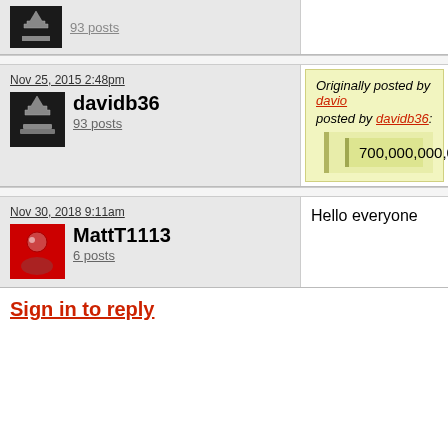[Figure (screenshot): Top partial comment row with avatar icon (black chess piece) and partial post count link]
Nov 25, 2015 2:48pm
[Figure (photo): Avatar: black chess piece icon]
davidb36
93 posts
Originally posted by davio... posted by davidb36: 700,000,000,000,0...
Nov 30, 2018 9:11am
[Figure (illustration): Avatar: red icon with figure]
MattT1113
6 posts
Hello everyone
Sign in to reply